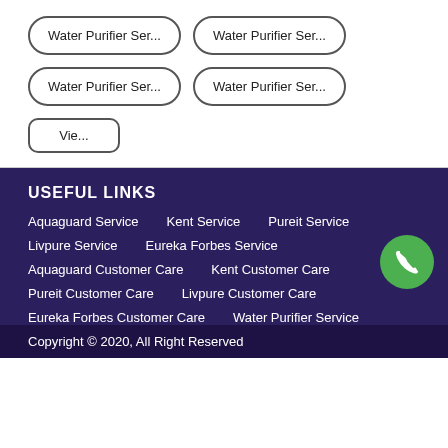Water Purifier Ser...
Water Purifier Ser...
Water Purifier Ser...
Water Purifier Ser...
Vie...
USEFUL LINKS
Aquaguard Service
Kent Service
Pureit Service
Livpure Service
Eureka Forbes Service
Aquaguard Customer Care
Kent Customer Care
Pureit Customer Care
Livpure Customer Care
Eureka Forbes Customer Care
Water Purifier Service
Copyright © 2020, All Right Reserved